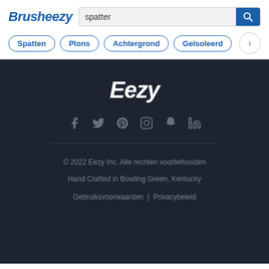Brusheezy
spatter
Spatten
Plons
Achtergrond
Geïsoleerd
Eezy
© 2022 Eezy Inc. Alle rechten voorbehouden
Hand Crafted in Bowling Green, Kentucky
Gebruiksvoorwaarden | Privacybeleid